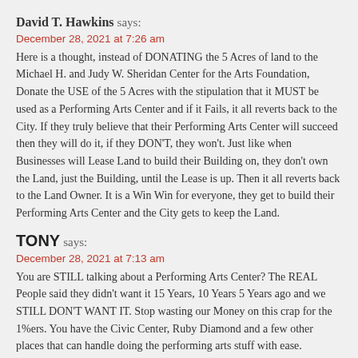David T. Hawkins says:
December 28, 2021 at 7:26 am
Here is a thought, instead of DONATING the 5 Acres of land to the Michael H. and Judy W. Sheridan Center for the Arts Foundation, Donate the USE of the 5 Acres with the stipulation that it MUST be used as a Performing Arts Center and if it Fails, it all reverts back to the City. If they truly believe that their Performing Arts Center will succeed then they will do it, if they DON'T, they won't. Just like when Businesses will Lease Land to build their Building on, they don't own the Land, just the Building, until the Lease is up. Then it all reverts back to the Land Owner. It is a Win Win for everyone, they get to build their Performing Arts Center and the City gets to keep the Land.
TONY says:
December 28, 2021 at 7:13 am
You are STILL talking about a Performing Arts Center? The REAL People said they didn't want it 15 Years, 10 Years 5 Years ago and we STILL DON'T WANT IT. Stop wasting our Money on this crap for the 1%ers. You have the Civic Center, Ruby Diamond and a few other places that can handle doing the performing arts stuff with ease. Everyone of you that vote FOR this needs to go.
Leave a Reply